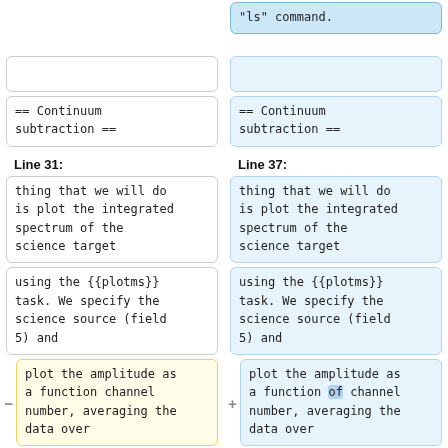"ls" command.
== Continuum subtraction ==
== Continuum subtraction ==
Line 31:
Line 37:
thing that we will do is plot the integrated spectrum of the science target
thing that we will do is plot the integrated spectrum of the science target
using the {{plotms}} task.  We specify the science source (field 5) and
using the {{plotms}} task.  We specify the science source (field 5) and
plot the amplitude as a function channel number, averaging the data over
plot the amplitude as a function of channel number, averaging the data over